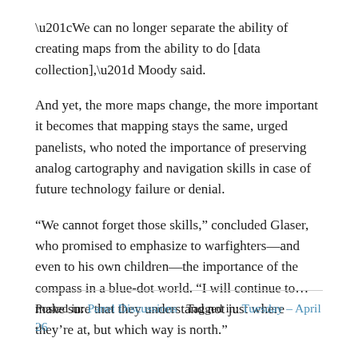“We can no longer separate the ability of creating maps from the ability to do [data collection],” Moody said.
And yet, the more maps change, the more important it becomes that mapping stays the same, urged panelists, who noted the importance of preserving analog cartography and navigation skills in case of future technology failure or denial.
“We cannot forget those skills,” concluded Glaser, who promised to emphasize to warfighters—and even to his own children—the importance of the compass in a blue-dot world. “I will continue to…make sure that they understand not just where they’re at, but which way is north.”
Posted in: Panel Discussions   Tagged in: Tuesday – April 26